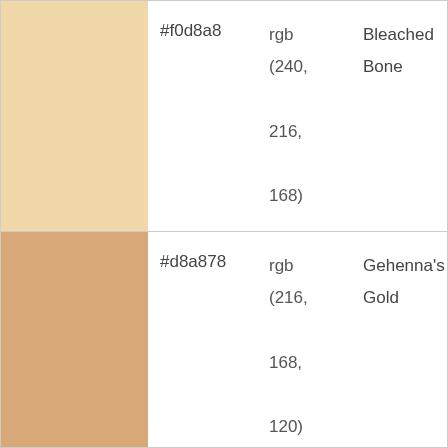| Swatch | Hex | RGB | Name |
| --- | --- | --- | --- |
|  | #f0d8a8 | rgb (240, 216, 168) | Bleached Bone |
|  | #d8a878 | rgb (216, 168, 120) | Gehenna's Gold |
|  | #f0a860 | rgb (240, 168, 96) | Shrimp Cocktail |